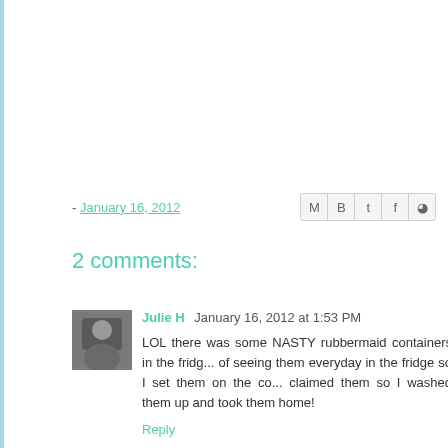- January 16, 2012
2 comments:
Julie H  January 16, 2012 at 1:53 PM
LOL there was some NASTY rubbermaid containers in the fridge... of seeing them everyday in the fridge so I set them on the co... claimed them so I washed them up and took them home!
Reply